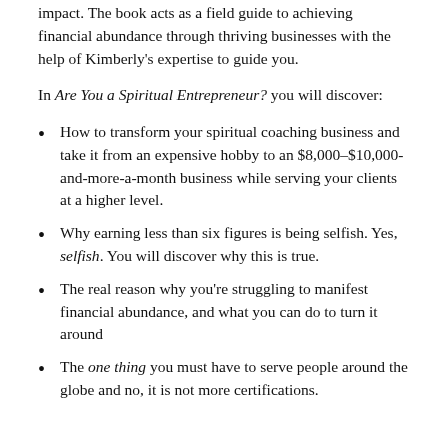impact. The book acts as a field guide to achieving financial abundance through thriving businesses with the help of Kimberly's expertise to guide you.
In Are You a Spiritual Entrepreneur? you will discover:
How to transform your spiritual coaching business and take it from an expensive hobby to an $8,000–$10,000-and-more-a-month business while serving your clients at a higher level.
Why earning less than six figures is being selfish. Yes, selfish. You will discover why this is true.
The real reason why you're struggling to manifest financial abundance, and what you can do to turn it around
The one thing you must have to serve people around the globe and no, it is not more certifications.